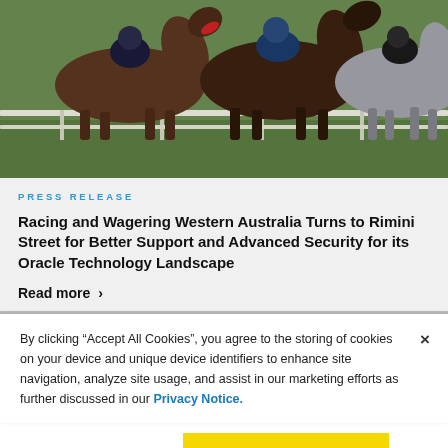[Figure (photo): Horses with jockeys racing at speed, close-up view from the front/side showing multiple horses and riders in racing gear, green grass background, white rail fence visible]
PRESS RELEASE
Racing and Wagering Western Australia Turns to Rimini Street for Better Support and Advanced Security for its Oracle Technology Landscape
Read more ›
By clicking "Accept All Cookies", you agree to the storing of cookies on your device and unique device identifiers to enhance site navigation, analyze site usage, and assist in our marketing efforts as further discussed in our Privacy Notice.
Cookies Settings
Accept All Cookies